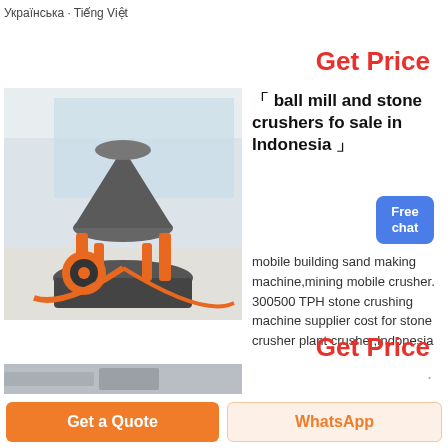Українська · Tiếng Việt
Get Price
[Figure (photo): Industrial cone crusher machine (gray and orange) in a large factory/warehouse setting with glass windows in background]
「 ball mill and stone crushers fo sale in Indonesia 」
Free chat
mobile building sand making machine,mining mobile crusher. 300500 TPH stone crushing machine supplier cost for stone crusher plant crusher,Indonesia
Get Price
[Figure (photo): Partial view of another industrial machine (bottom strip)]
Get a Quote
WhatsApp